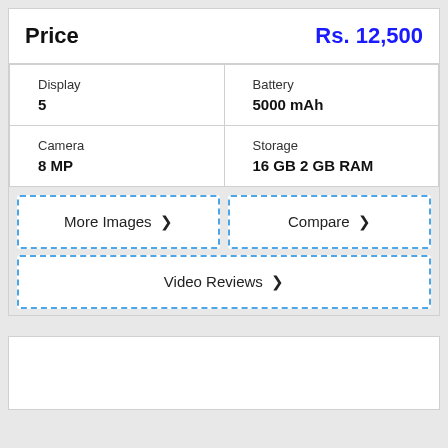| Price | Rs. 12,500 |
| Display
5 | Battery
5000 mAh |
| Camera
8 MP | Storage
16 GB 2 GB RAM |
More Images ›
Compare ›
Video Reviews ›